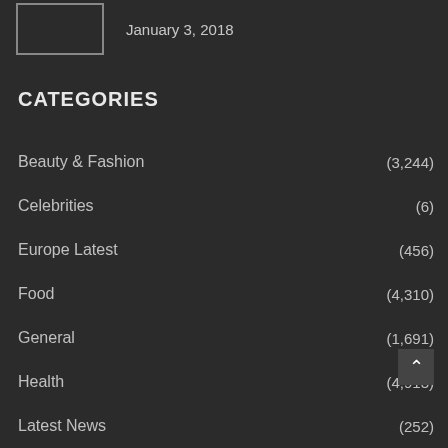January 3, 2018
CATEGORIES
Beauty & Fashion (3,244)
Celebrities (6)
Europe Latest (456)
Food (4,310)
General (1,691)
Health (4,913)
Latest News (252)
Sports (3,573)
USA News (4,253)